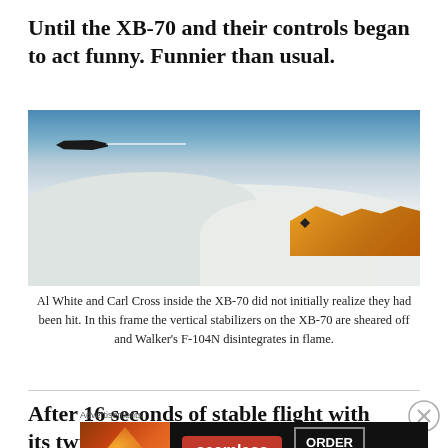Until the XB-70 and their controls began to act funny. Funnier than usual.
[Figure (photo): Aerial photograph showing an aircraft with a fireball and debris in the sky above clouds, depicting the XB-70 mid-air collision incident. A small aircraft is visible in the upper left trailing a contrail, while fire and disintegrating aircraft are visible on the right side.]
Al White and Carl Cross inside the XB-70 did not initially realize they had been hit. In this frame the vertical stabilizers on the XB-70 are sheared off and Walker's F-104N disintegrates in flame.
After 16 seconds of stable flight with its twin tails
Advertisements
[Figure (photo): Seamless food delivery advertisement banner showing pizza slices on the left, the Seamless logo in red in the center, and an 'ORDER NOW' button on the right, all on a dark background.]